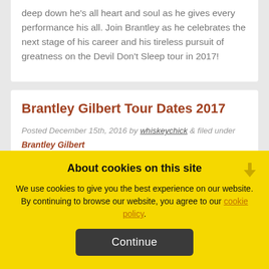deep down he's all heart and soul as he gives every performance his all. Join Brantley as he celebrates the next stage of his career and his tireless pursuit of greatness on the Devil Don't Sleep tour in 2017!
Brantley Gilbert Tour Dates 2017
Posted December 15th, 2016 by whiskeychick & filed under
Brantley Gilbert
About cookies on this site
We use cookies to give you the best experience on our website. By continuing to browse our website, you agree to our cookie policy.